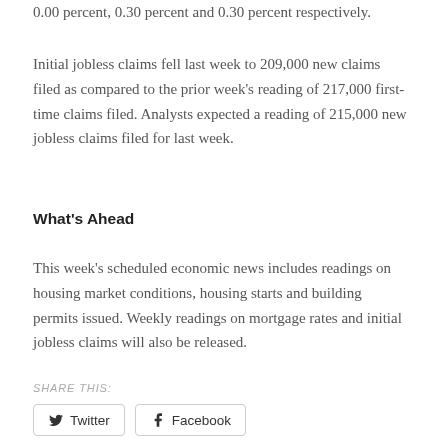0.00 percent, 0.30 percent and 0.30 percent respectively.
Initial jobless claims fell last week to 209,000 new claims filed as compared to the prior week's reading of 217,000 first-time claims filed. Analysts expected a reading of 215,000 new jobless claims filed for last week.
What's Ahead
This week's scheduled economic news includes readings on housing market conditions, housing starts and building permits issued. Weekly readings on mortgage rates and initial jobless claims will also be released.
SHARE THIS:
Twitter   Facebook